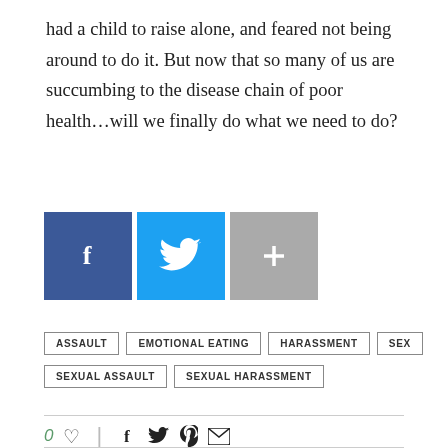had a child to raise alone, and feared not being around to do it. But now that so many of us are succumbing to the disease chain of poor health…will we finally do what we need to do?
[Figure (infographic): Social share buttons: Facebook (blue), Twitter (cyan), Google Plus (gray)]
ASSAULT
EMOTIONAL EATING
HARASSMENT
SEX
SEXUAL ASSAULT
SEXUAL HARASSMENT
[Figure (infographic): Like count (0 heart) and social share icons: facebook, twitter, pinterest, email]
ERIKA NICOLE KENDALL
The proud leader of the #bgg2wlarmy, Erika Nicole